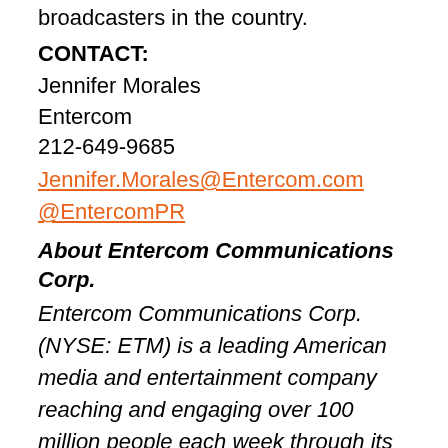broadcasters in the country.
CONTACT:
Jennifer Morales
Entercom
212-649-9685
Jennifer.Morales@Entercom.com
@EntercomPR
About Entercom Communications Corp.
Entercom Communications Corp. (NYSE: ETM) is a leading American media and entertainment company reaching and engaging over 100 million people each week through its premier collection of highly rated, award winning radio stations, digital platforms and live events. As one of the country's two largest radio broadcasters,